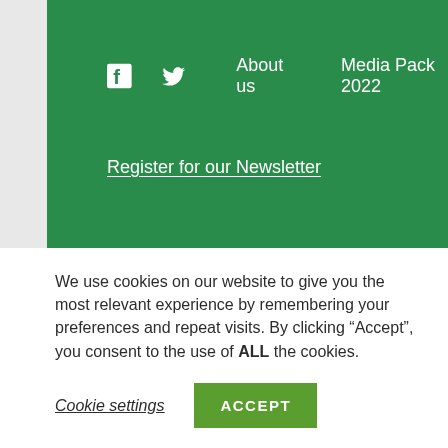[Figure (screenshot): Green website navigation header with Facebook and Twitter social icons, 'About us' and 'Media Pack 2022' links, and 'Register for our Newsletter' link on green background]
We use cookies on our website to give you the most relevant experience by remembering your preferences and repeat visits. By clicking “Accept”, you consent to the use of ALL the cookies.
Cookie settings
ACCEPT